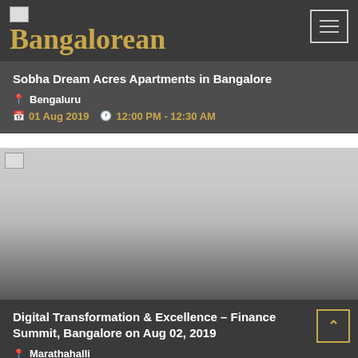Bangalorean
Sobha Dream Acres Apartments in Bangalore
Bengaluru
01 Aug 2019   12:00 PM - 12:30 AM
[Figure (photo): Event image thumbnail for Digital Transformation & Excellence – Finance Summit]
Digital Transformation & Excellence – Finance Summit, Bangalore on Aug 02, 2019
Marathahalli